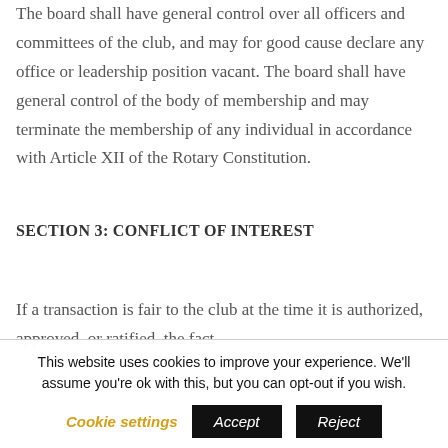The board shall have general control over all officers and committees of the club, and may for good cause declare any office or leadership position vacant. The board shall have general control of the body of membership and may terminate the membership of any individual in accordance with Article XII of the Rotary Constitution.
SECTION 3: CONFLICT OF INTEREST
If a transaction is fair to the club at the time it is authorized, approved, or ratified, the fact
This website uses cookies to improve your experience. We'll assume you're ok with this, but you can opt-out if you wish.